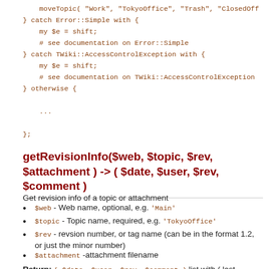moveTopic( "Work", "TokyoOffice", "Trash", "ClosedOff
} catch Error::Simple with {
    my $e = shift;
    # see documentation on Error::Simple
} catch TWiki::AccessControlException with {
    my $e = shift;
    # see documentation on TWiki::AccessControlException
} otherwise {

    ...

};
getRevisionInfo($web, $topic, $rev, $attachment ) -> ( $date, $user, $rev, $comment )
Get revision info of a topic or attachment
$web - Web name, optional, e.g. 'Main'
$topic - Topic name, required, e.g. 'TokyoOffice'
$rev - revsion number, or tag name (can be in the format 1.2, or just the minor number)
$attachment -attachment filename
Return: ( $date, $user, $rev, $comment ) list with ( last ...